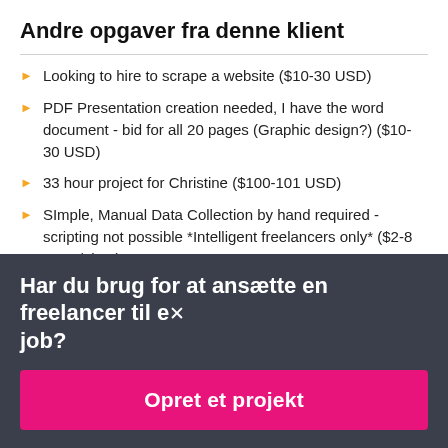Andre opgaver fra denne klient
Looking to hire to scrape a website ($10-30 USD)
PDF Presentation creation needed, I have the word document - bid for all 20 pages (Graphic design?) ($10-30 USD)
33 hour project for Christine ($100-101 USD)
SImple, Manual Data Collection by hand required - scripting not possible *Intelligent freelancers only* ($2-8 USD / time)
Har du brug for at ansætte en freelancer til et job?
Opret et projekt